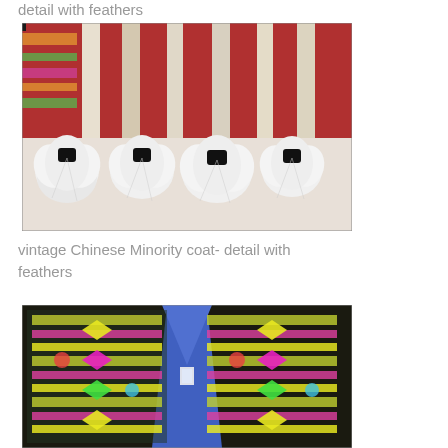detail with feathers
[Figure (photo): Close-up photo of white feather tassels/decorations along the hem of a vintage Chinese Minority coat, laid out on a colorful patterned textile background with diamond/geometric designs in red, green, yellow, pink and white.]
vintage Chinese Minority coat- detail with feathers
[Figure (photo): Photo of a vintage Chinese Minority coat laid flat, showing intricate embroidered geometric and floral patterns in bright colors including pink, yellow, green and white on dark background, with a blue lining visible at the collar area.]